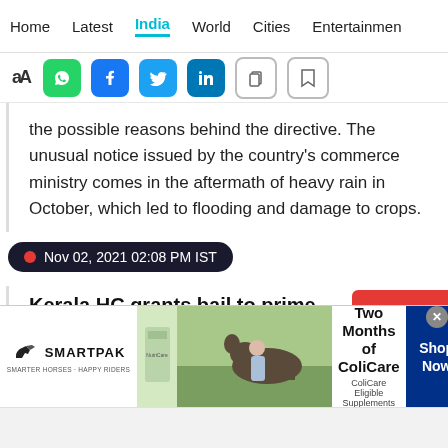Home | Latest | India | World | Cities | Entertainment
[Figure (screenshot): Social sharing toolbar with font size icons, WhatsApp, Facebook, Twitter, LinkedIn, copy and bookmark icons]
the possible reasons behind the directive. The unusual notice issued by the country's commerce ministry comes in the aftermath of heavy rain in October, which led to flooding and damage to crops.
Nov 02, 2021 02:08 PM IST
Kerala HC grants bail to prime accused Swapna Suresh in gold smuggling case
Kerala High Court on Tuesday granted bail to the prime...
[Figure (screenshot): SmartPak advertisement banner: 50% Off Two Months of ColiCare, ColiCare Eligible Supplements, CODE: COLICARE10, Shop Now button]